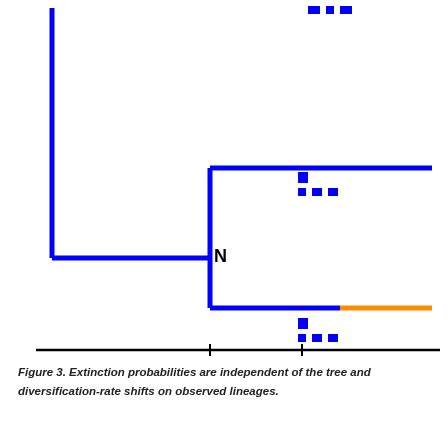[Figure (other): Phylogenetic tree diagram showing extinction probability independence from rate shifts on observed lineages. A stepped blue line tree structure with dashed blue branch indicators, a node labeled N, time axis with tick marks at t1 and t2, and an orange segment on one branch indicating a rate shift region.]
Figure 3. Extinction probabilities are independent of the tree and diversification-rate shifts on observed lineages.